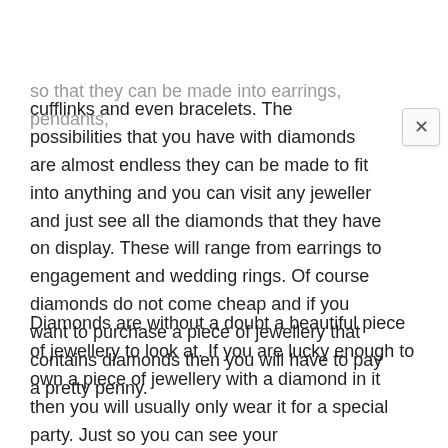so that they can be made into earrings, pendants, cufflinks and even bracelets. The possibilities that you have with diamonds are almost endless they can be made to fit into anything and you can visit any jeweller and just see all the diamonds that they have on display. These will range from earrings to engagement and wedding rings. Of course diamonds do not come cheap and if you want to purchase a piece of jewellery that contains diamonds then you will have to pay a pretty penny.
Diamonds are without a doubt a beautiful piece of jewellery to look at. If you are lucky enough to own a piece of jewellery with a diamond in it then you will usually only wear it for a special party. Just so you can see your